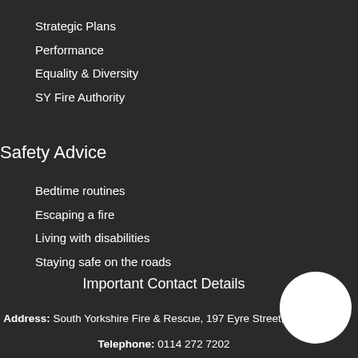Strategic Plans
Performance
Equality & Diversity
SY Fire Authority
Safety Advice
Bedtime routines
Escaping a fire
Living with disabilities
Staying safe on the roads
Important Contact Details
Address: South Yorkshire Fire & Rescue, 197 Eyre Street, S1 3FG
Telephone: 0114 272 7202